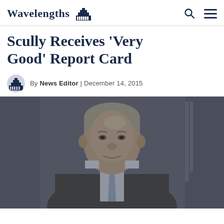Wavelengths | [logo icon] | [search icon] | [menu icon]
Scully Receives 'Very Good' Report Card
By News Editor | December 14, 2015
[Figure (photo): A gray-haired man in a dark suit and light blue tie, seated, smiling slightly, with flags visible in the background. The image has a dark overlay.]